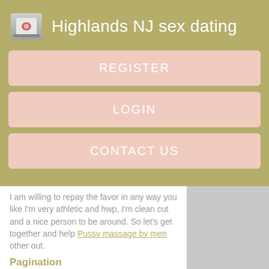Highlands NJ sex dating
REGISTER
LOGIN
CONTACT US
I am willing to repay the favor in any way you like I'm very athletic and hwp, I'm clean cut and a nice person to be around. So let's get together and help Pussy massage by men other out.
Pagination
I'm very serious and very real